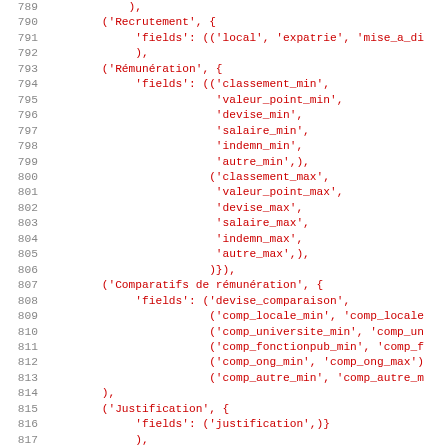Code listing lines 789-820 showing Python/Django-style fieldset configuration in red monospace font
789     ),
790     ('Recrutement', {
791         'fields': (('local', 'expatrie', 'mise_a_di
792         ),
793     ('Rémunération', {
794         'fields': (('classement_min',
795                     'valeur_point_min',
796                     'devise_min',
797                     'salaire_min',
798                     'indemn_min',
799                     'autre_min',),
800                    ('classement_max',
801                     'valeur_point_max',
802                     'devise_max',
803                     'salaire_max',
804                     'indemn_max',
805                     'autre_max',),
806                    )}),
807     ('Comparatifs de rémunération', {
808         'fields': ('devise_comparaison',
809                    ('comp_locale_min', 'comp_locale
810                    ('comp_universite_min', 'comp_un
811                    ('comp_fonctionpub_min', 'comp_f
812                    ('comp_ong_min', 'comp_ong_max')
813                    ('comp_autre_min', 'comp_autre_m
814     ),
815     ('Justification', {
816         'fields': ('justification',)}
817         ),
818     ('Autres Méta-données', {
819         'fields': ('date_debut', 'date_fin')}
820         ),
821 )